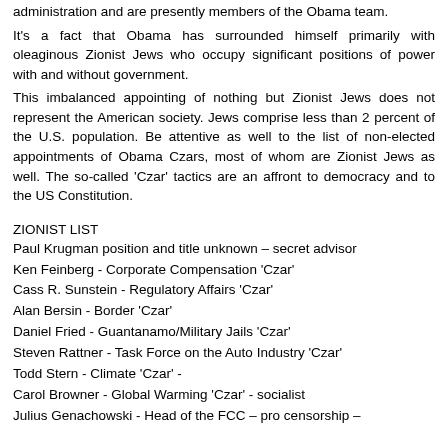administration and are presently members of the Obama team.
It's a fact that Obama has surrounded himself primarily with oleaginous Zionist Jews who occupy significant positions of power with and without government.
This imbalanced appointing of nothing but Zionist Jews does not represent the American society. Jews comprise less than 2 percent of the U.S. population. Be attentive as well to the list of non-elected appointments of Obama Czars, most of whom are Zionist Jews as well. The so-called 'Czar' tactics are an affront to democracy and to the US Constitution.
ZIONIST LIST
Paul Krugman position and title unknown – secret advisor
Ken Feinberg - Corporate Compensation 'Czar'
Cass R. Sunstein - Regulatory Affairs 'Czar'
Alan Bersin - Border 'Czar'
Daniel Fried - Guantanamo/Military Jails 'Czar'
Steven Rattner - Task Force on the Auto Industry 'Czar'
Todd Stern - Climate 'Czar' -
Carol Browner - Global Warming 'Czar' - socialist
Julius Genachowski - Head of the FCC – pro censorship –